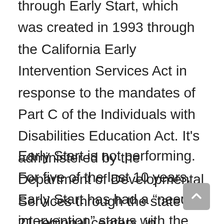through Early Start, which was created in 1993 through the California Early Intervention Services Act in response to the mandates of Part C of the Individuals with Disabilities Education Act. It's administered by the Department of Developmental Services through the state's 21 regional centers, in partnership with the Department of Education, and is responsible for identifying, locating and evaluating infants and toddlers who may need and be eligible for early intervention services.
Early Start is not performing. For five of the last 10 years, Early Start has had a “needs intervention” status with the federal Office of Special Education Programs. In fact, according to the recent Getting th...